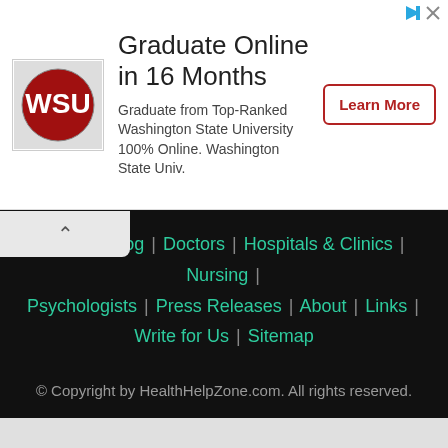[Figure (logo): Washington State University crimson logo on white/gray background]
Graduate Online in 16 Months
Graduate from Top-Ranked Washington State University 100% Online. Washington State Univ.
Learn More
Home | Blog | Doctors | Hospitals & Clinics | Nursing | Psychologists | Press Releases | About | Links | Write for Us | Sitemap
© Copyright by HealthHelpZone.com. All rights reserved.